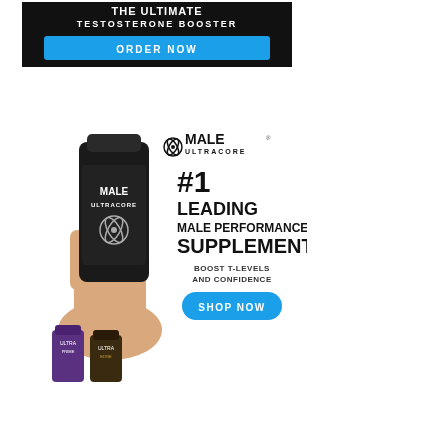[Figure (advertisement): Ad banner for a testosterone booster supplement. Black background with white text 'THE ULTIMATE TESTOSTERONE BOOSTER' and a blue 'ORDER NOW' button.]
[Figure (advertisement): Male Ultracore supplement ad showing a hand holding a black bottle labeled 'MALE ULTRACORE', two smaller product bottles at the bottom left, brand logo, and text '#1 LEADING MALE PERFORMANCE SUPPLEMENT BOOST T-LEVELS AND CONFIDENCE' with a blue 'SHOP NOW' button.]